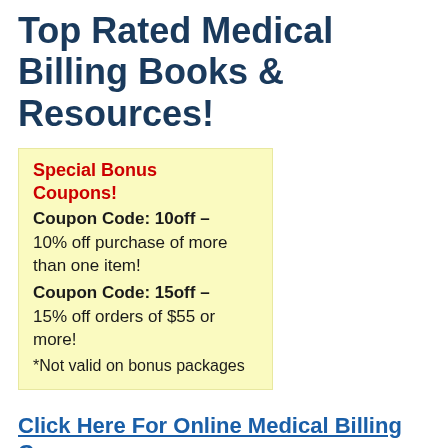Top Rated Medical Billing Books & Resources!
Special Bonus Coupons!
Coupon Code: 10off – 10% off purchase of more than one item!
Coupon Code: 15off – 15% off orders of $55 or more!
*Not valid on bonus packages
Click Here For Online Medical Billing Courses